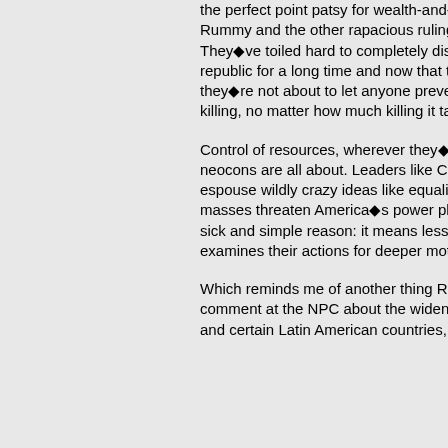the perfect point patsy for wealth-and-power-addicted thugs like Rummy and the other rapacious ruling ◆Republican◆ rats. They◆ve toiled hard to completely dismantle our democratic republic for a long time and now that they◆ve fully succeeded, they◆re not about to let anyone prevent them from making their killing, no matter how much killing it takes.
Control of resources, wherever they◆re located, is what the neocons are all about. Leaders like Chavez and Morales who espouse wildly crazy ideas like equality and justice for the masses threaten America◆s power players◆ status quo for one sick and simple reason: it means less for them, and anyone who examines their actions for deeper motives misses the mark.
Which reminds me of another thing Rummy said. When asked to comment at the NPC about the widening rifts between the U.S. and certain Latin American countries, the Pentagon